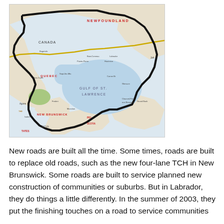[Figure (map): A map of eastern Canada showing Quebec, Newfoundland, Labrador, New Brunswick, Nova Scotia, and PEI regions. A thick black route line traces around the Gulf of St. Lawrence and through the Maritime provinces. A yellow line marks a route across northern Canada. Geographic labels visible include NEWFOUNDLAND, CANADA, QUEBEC, NEW BRUNSWICK, GULF OF ST. LAWRENCE, and various town names.]
New roads are built all the time. Some times, roads are built to replace old roads, such as the new four-lane TCH in New Brunswick. Some roads are built to service planned new construction of communities or suburbs. But in Labrador, they do things a little differently. In the summer of 2003, they put the finishing touches on a road to service communities